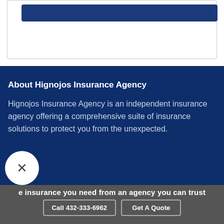[Figure (other): White card section with a dark blue button/bar visible at the top, partially cropped]
About Hignojos Insurance Agency
Hignojos Insurance Agency is an independent insurance agency offering a comprehensive suite of insurance solutions to protect you from the unexpected.
e insurance you need from an agency you can trust
Call 432-333-6962
Get A Quote